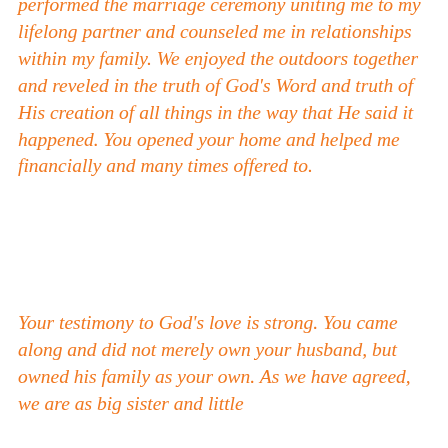performed the marriage ceremony uniting me to my lifelong partner and counseled me in relationships within my family. We enjoyed the outdoors together and reveled in the truth of God's Word and truth of His creation of all things in the way that He said it happened. You opened your home and helped me financially and many times offered to.
Your testimony to God's love is strong. You came along and did not merely own your husband, but owned his family as your own. As we have agreed, we are as big sister and little